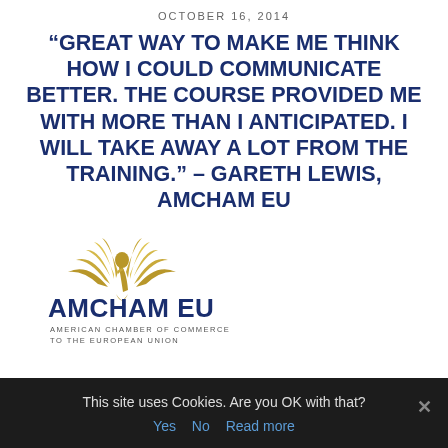OCTOBER 16, 2014
“GREAT WAY TO MAKE ME THINK HOW I COULD COMMUNICATE BETTER. THE COURSE PROVIDED ME WITH MORE THAN I ANTICIPATED. I WILL TAKE AWAY A LOT FROM THE TRAINING.” – GARETH LEWIS, AMCHAM EU
[Figure (logo): AmCham EU logo: golden eagle wings above text 'AMCHAM EU' in dark blue bold, with subtitle 'AMERICAN CHAMBER OF COMMERCE TO THE EUROPEAN UNION']
This site uses Cookies. Are you OK with that?
Yes   No   Read more